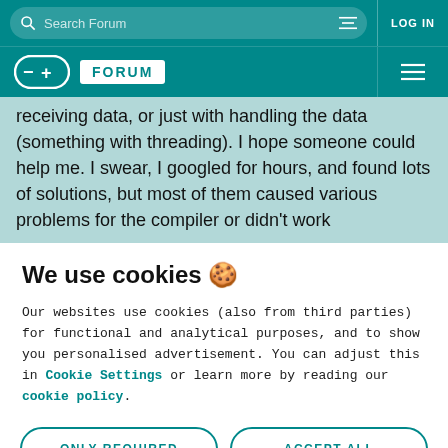Search Forum | LOG IN
FORUM
receiving data, or just with handling the data (something with threading). I hope someone could help me. I swear, I googled for hours, and found lots of solutions, but most of them caused various problems for the compiler or didn't work
We use cookies 🍪
Our websites use cookies (also from third parties) for functional and analytical purposes, and to show you personalised advertisement. You can adjust this in Cookie Settings or learn more by reading our cookie policy.
ONLY REQUIRED
ACCEPT ALL